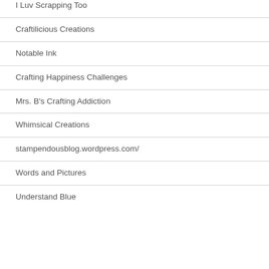I Luv Scrapping Too
Craftilicious Creations
Notable Ink
Crafting Happiness Challenges
Mrs. B's Crafting Addiction
Whimsical Creations
stampendousblog.wordpress.com/
Words and Pictures
Understand Blue